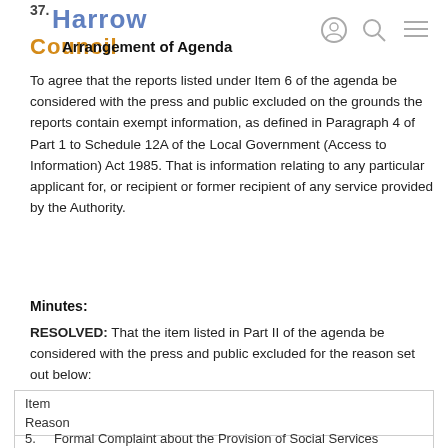37. Harrow Council - Arrangement of Agenda
Arrangement of Agenda
To agree that the reports listed under Item 6 of the agenda be considered with the press and public excluded on the grounds the reports contain exempt information, as defined in Paragraph 4 of Part 1 to Schedule 12A of the Local Government (Access to Information) Act 1985. That is information relating to any particular applicant for, or recipient or former recipient of any service provided by the Authority.
Minutes:
RESOLVED: That the item listed in Part II of the agenda be considered with the press and public excluded for the reason set out below:
| Item | Reason |
| --- | --- |
| 5. | Formal Complaint about the Provision of Social Services |
5.	Formal Complaint about the Provision of Social Services